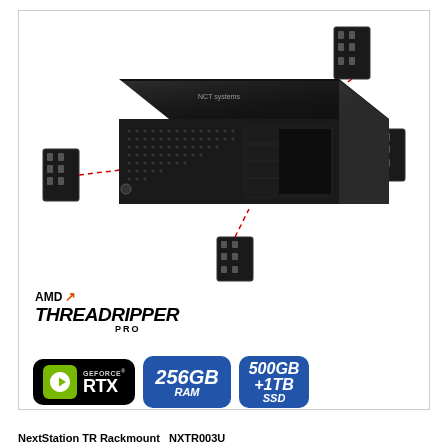[Figure (photo): Black rackmount workstation computer chassis shown in 3D perspective with four rack mounting brackets attached via red dashed lines indicating assembly. AMD Threadripper PRO branding visible. Product shown with NVIDIA GeForce RTX, 256GB RAM, and 500GB+1TB SSD badges.]
NextStation TR Rackmount   NXTR003U